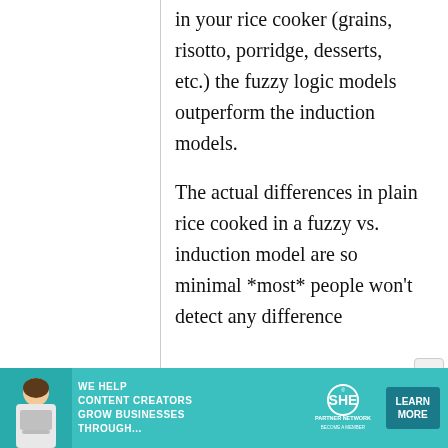in your rice cooker (grains, risotto, porridge, desserts, etc.) the fuzzy logic models outperform the induction models.

The actual differences in plain rice cooked in a fuzzy vs. induction model are so minimal *most* people won't detect any difference
[Figure (other): Advertisement banner: teal background with woman at laptop, SHE Partner Network logo, text 'WE HELP CONTENT CREATORS GROW BUSINESSES THROUGH...' and 'LEARN MORE' button]